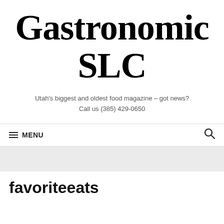Gastronomic SLC
Utah's biggest and oldest food magazine – got news?
Call us (385) 429-0650
≡ MENU
favoriteeats